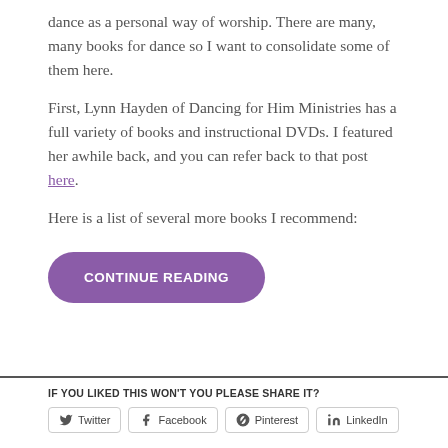dance as a personal way of worship. There are many, many books for dance so I want to consolidate some of them here.
First, Lynn Hayden of Dancing for Him Ministries has a full variety of books and instructional DVDs. I featured her awhile back, and you can refer back to that post here.
Here is a list of several more books I recommend:
CONTINUE READING
IF YOU LIKED THIS WON'T YOU PLEASE SHARE IT?
Twitter  Facebook  Pinterest  LinkedIn